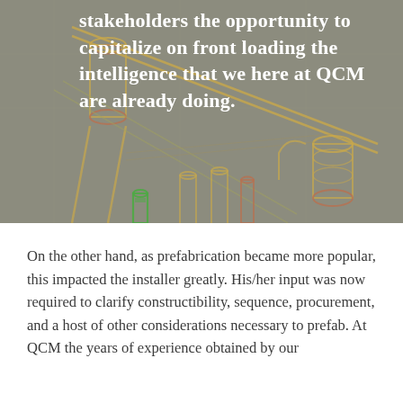[Figure (engineering-diagram): CAD/3D engineering diagram of pipe fittings and mechanical components on a grey background, with line art in gold/orange and green colors showing pipes, connectors, and fittings from an isometric view.]
stakeholders the opportunity to capitalize on front loading the intelligence that we here at QCM are already doing.
On the other hand, as prefabrication became more popular, this impacted the installer greatly. His/her input was now  required to clarify constructibility, sequence, procurement, and a host of other considerations necessary to prefab. At QCM the years of experience obtained by our